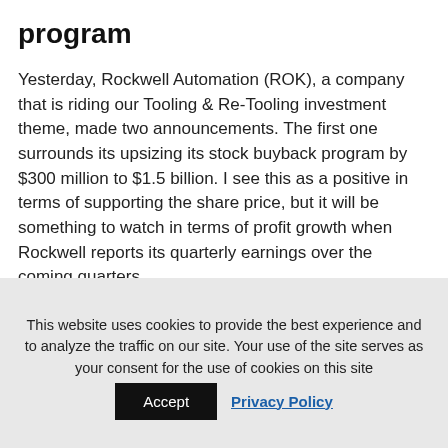program
Yesterday, Rockwell Automation (ROK), a company that is riding our Tooling & Re-Tooling investment theme, made two announcements. The first one surrounds its upsizing its stock buyback program by $300 million to $1.5 billion. I see this as a positive in terms of supporting the share price, but it will be something to watch in terms of profit growth when Rockwell reports its quarterly earnings over the coming quarters.
This website uses cookies to provide the best experience and to analyze the traffic on our site. Your use of the site serves as your consent for the use of cookies on this site
Accept
Privacy Policy